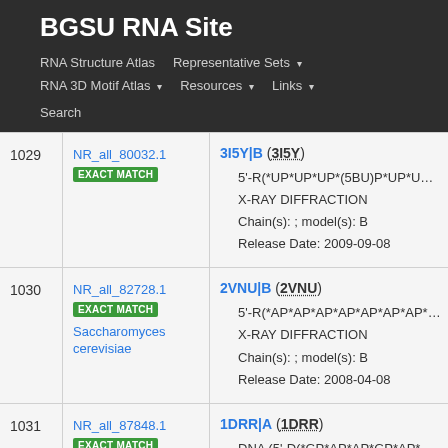BGSU RNA Site
RNA Structure Atlas
Representative Sets
RNA 3D Motif Atlas
Resources
Links
Search
| # | ID | Details |
| --- | --- | --- |
| 1029 | NR_all_80032.1
EXACT MATCH | 3I5Y|B (3I5Y)
5'-R(*UP*UP*UP*(5BU)P*UP*UP*UP*UP*
X-RAY DIFFRACTION
Chain(s): ; model(s): B
Release Date: 2009-09-08 |
| 1030 | NR_all_82728.1
EXACT MATCH
Saccharomyces cerevisiae | 2VNU|B (2VNU)
5'-R(*AP*AP*AP*AP*AP*AP*AP*AP*AP*A
X-RAY DIFFRACTION
Chain(s): ; model(s): B
Release Date: 2008-04-08 |
| 1031 | NR_all_87848.1
EXACT MATCH | 1DRR|A (1DRR)
DNA (5'-D(*GP*AP*AP*GP*AP*GP*AP*AF |